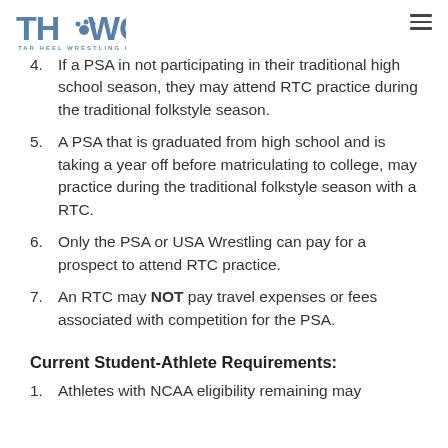TAR HEEL WRESTLING CLUB logo and navigation menu
4. If a PSA in not participating in their traditional high school season, they may attend RTC practice during the traditional folkstyle season.
5. A PSA that is graduated from high school and is taking a year off before matriculating to college, may practice during the traditional folkstyle season with a RTC.
6. Only the PSA or USA Wrestling can pay for a prospect to attend RTC practice.
7. An RTC may NOT pay travel expenses or fees associated with competition for the PSA.
Current Student-Athlete Requirements:
1. Athletes with NCAA eligibility remaining may